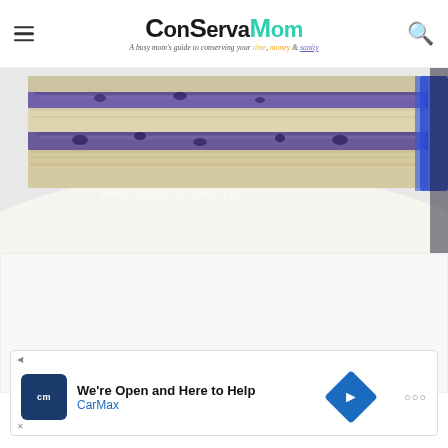ConservaMom - A busy mom's guide to conserving your time, money & sanity
[Figure (photo): Close-up photo of a slice of blueberry cake with purple/blue filling between white cake layers, with watermark text www.conservamome.com]
[Figure (other): Advertisement area - blank white/gray space]
We're Open and Here to Help CarMax